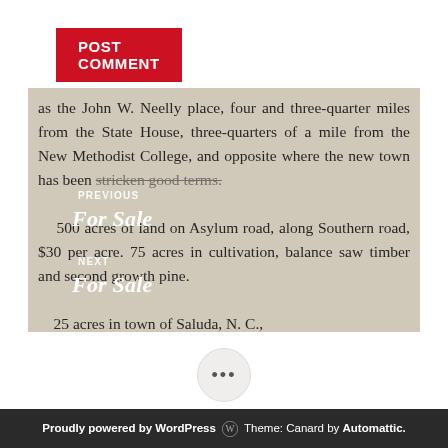POST COMMENT
[Figure (photo): Scanned newspaper clipping showing a 'For Sale' real estate advertisement. Text reads: 'as the John W. Neelly place, four and three-quarter miles from the State House, three-quarters of a mile from the New Methodist College, and opposite where the new town has been [stricken text]. 500 acres of land on Asylum road, along Southern road, $30 per acre. 75 acres in cultivation, balance saw timber and second growth pine. 25 acres in town of Saluda, N. C.,' Overlaid navigation labels: PREVIOUS / For Sale and NEXT / For Sale]
•••
Proudly powered by WordPress  Theme: Canard by Automattic.